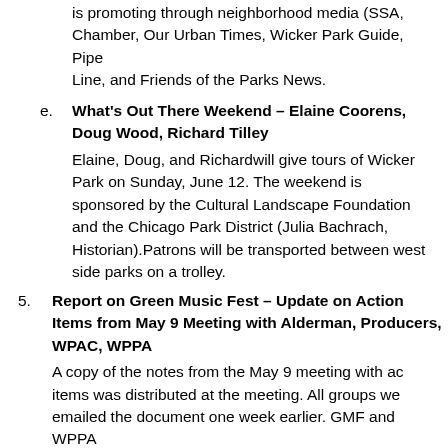is promoting through neighborhood media (SSA, Chamber, Our Urban Times, Wicker Park Guide, Pipe Line, and Friends of the Parks News.
e. What's Out There Weekend – Elaine Coorens, Doug Wood, Richard Tilley
Elaine, Doug, and Richardwill give tours of Wicker Park on Sunday, June 12. The weekend is sponsored by the Cultural Landscape Foundation and the Chicago Park District (Julia Bachrach, Historian).Patrons will be transported between west side parks on a trolley.
5. Report on Green Music Fest – Update on Action Items from May 9 Meeting with Alderman, Producers, WPAC, WPPA
A copy of the notes from the May 9 meeting with action items was distributed at the meeting. All groups were emailed the document one week earlier. GMF and WPPA